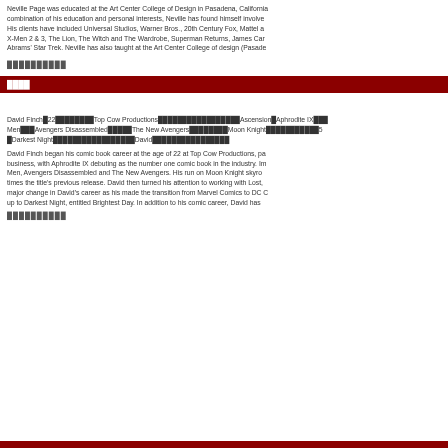Neville Page was educated at the Art Center College of Design in Pasadena, California combination of his education and personal interests, Neville has found himself involved His clients have included Universal Studios, Warner Bros., 20th Century Fox, Mattel a X-Men 2 & 3, The Lion, The Witch and The Wardrobe, Superman Returns, James Cam Abrams' Star Trek. Neville has also taught at the Art Center College of design (Pasade
██████████
████
David Finch█22██████████Top Cow Productions██████████████████Ascension█Aphrodite IX███ Men███Avengers Disassembled█████The New Avengers████████Moon Knight████████████5 █Darkest Night████████████████████David████████████████
David Finch began his comic book career at the age of 22 at Top Cow Productions, pa business, with Aphrodite IX debuting as the number one comic book in the industry. Im Men, Avengers Disassembled and The New Avengers. His run on Moon Knight skyro times the title's previous release. David then turned his attention to working with Lost, major change in David's career as his made the transition from Marvel Comics to DC C up to Darkest Night, entitled Brightest Day. In addition to his comic career, David has
██████████